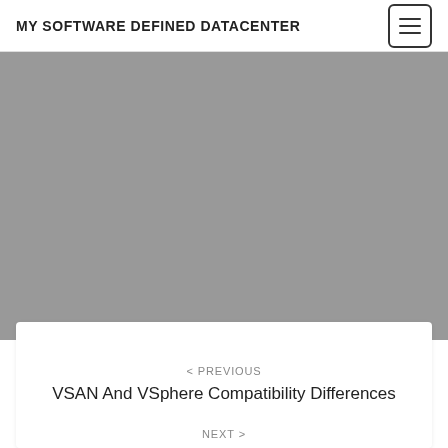MY SOFTWARE DEFINED DATACENTER
[Figure (other): Gray placeholder area representing an advertisement or image banner]
< PREVIOUS
VSAN And VSphere Compatibility Differences
NEXT >